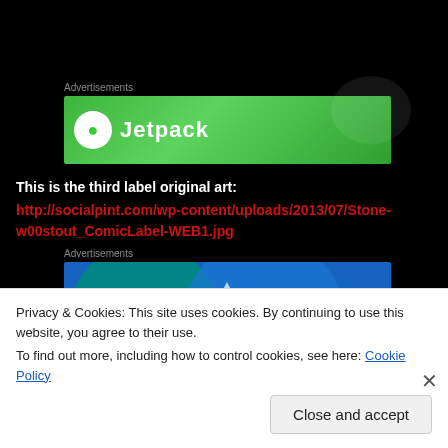[Figure (screenshot): Green Jetpack advertisement banner]
This is the third label original art:
http://socialpint.com/wp-content/uploads/2013/07/Stone-w00stout_ComicLabel-WEB1.jpg
[Figure (screenshot): Blue advertisement banner (WordPress/Azure style)]
Privacy & Cookies: This site uses cookies. By continuing to use this website, you agree to their use. To find out more, including how to control cookies, see here: Cookie Policy